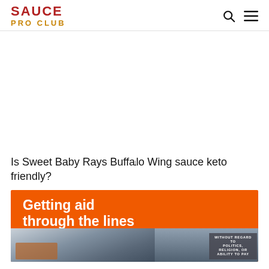SAUCE PRO CLUB
Is Sweet Baby Rays Buffalo Wing sauce keto friendly?
[Figure (photo): Advertisement banner with orange background showing text 'Getting aid through the lines' and a photo of cargo planes being loaded at an airport with text 'WITHOUT REGARD TO' overlay]